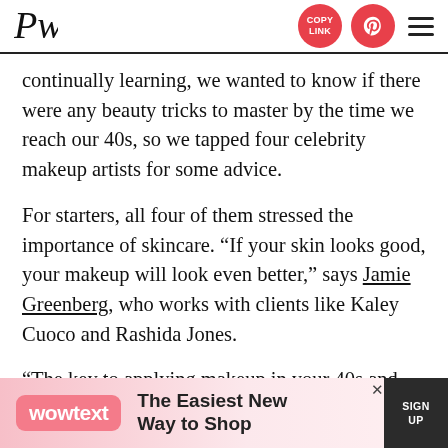PW — COPY LINK | Pinterest | Menu
continually learning, we wanted to know if there were any beauty tricks to master by the time we reach our 40s, so we tapped four celebrity makeup artists for some advice.
For starters, all four of them stressed the importance of skincare. “If your skin looks good, your makeup will look even better,” says Jamie Greenberg, who works with clients like Kaley Cuoco and Rashida Jones.
“The key to applying makeup in your 40s and beyond is hydration,” adds Nechelle Turner, a national makeup artist and educator for Jane Iredale. “Hydrating the skin pre-application gives it a more yout…
[Figure (other): Advertisement banner for wowtext reading 'The Easiest New Way to Shop' with sign up button]